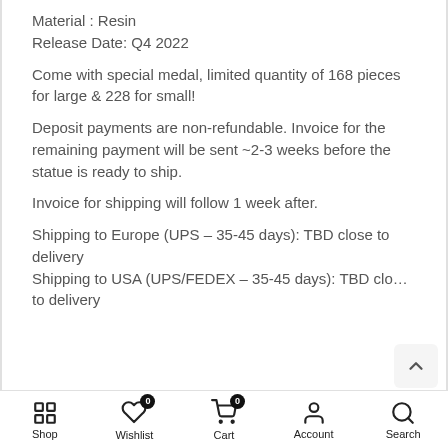Material : Resin
Release Date: Q4 2022
Come with special medal, limited quantity of 168 pieces for large & 228 for small!
Deposit payments are non-refundable. Invoice for the remaining payment will be sent ~2-3 weeks before the statue is ready to ship.
Invoice for shipping will follow 1 week after.
Shipping to Europe (UPS - 35-45 days): TBD close to delivery
Shipping to USA (UPS/FEDEX - 35-45 days): TBD close to delivery
Shop  Wishlist  Cart  Account  Search